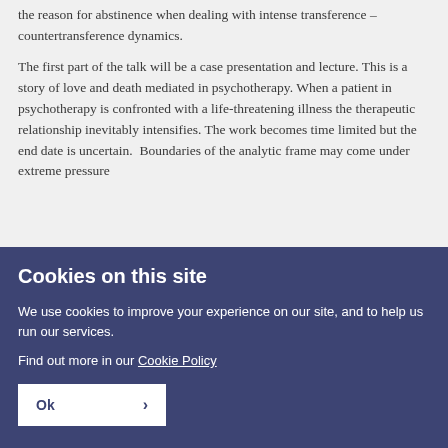the reason for abstinence when dealing with intense transference – countertransference dynamics.
The first part of the talk will be a case presentation and lecture. This is a story of love and death mediated in psychotherapy. When a patient in psychotherapy is confronted with a life-threatening illness the therapeutic relationship inevitably intensifies. The work becomes time limited but the end date is uncertain.  Boundaries of the analytic frame may come under extreme pressure
Cookies on this site
We use cookies to improve your experience on our site, and to help us run our services.
Find out more in our Cookie Policy
Ok >